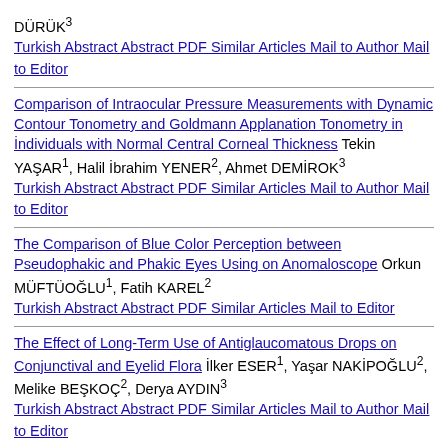DÜRÜK³
Turkish Abstract Abstract PDF Similar Articles Mail to Author Mail to Editor
Comparison of Intraocular Pressure Measurements with Dynamic Contour Tonometry and Goldmann Applanation Tonometry in İndividuals with Normal Central Corneal Thickness Tekin YAŞAR¹, Halil İbrahim YENER², Ahmet DEMİROK³
Turkish Abstract Abstract PDF Similar Articles Mail to Author Mail to Editor
The Comparison of Blue Color Perception between Pseudophakic and Phakic Eyes Using on Anomaloscope Orkun MÜFTÜOĞLU¹, Fatih KAREL²
Turkish Abstract Abstract PDF Similar Articles Mail to Editor
The Effect of Long-Term Use of Antiglaucomatous Drops on Conjunctival and Eyelid Flora İlker ESER¹, Yaşar NAKİPOĞLU², Melike BEŞKOÇ², Derya AYDIN³
Turkish Abstract Abstract PDF Similar Articles Mail to Author Mail to Editor
Association of Depression with Glaucoma and Topical